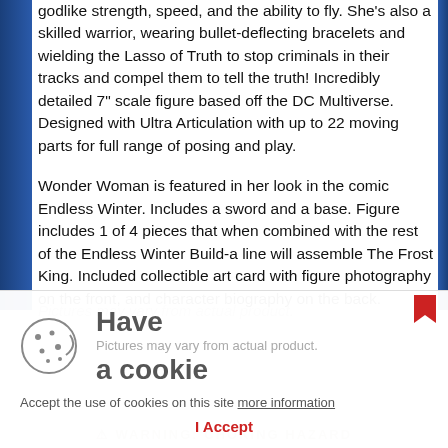godlike strength, speed, and the ability to fly. She's also a skilled warrior, wearing bullet-deflecting bracelets and wielding the Lasso of Truth to stop criminals in their tracks and compel them to tell the truth! Incredibly detailed 7" scale figure based off the DC Multiverse. Designed with Ultra Articulation with up to 22 moving parts for full range of posing and play.
Wonder Woman is featured in her look in the comic Endless Winter. Includes a sword and a base. Figure includes 1 of 4 pieces that when combined with the rest of the Endless Winter Build-a line will assemble The Frost King. Included collectible art card with figure photography on the front, and character biography on the back.
Pictures may vary from actual product.
Have a cookie
Accept the use of cookies on this site more information
I Accept
WARNING: CHOKING HAZARD